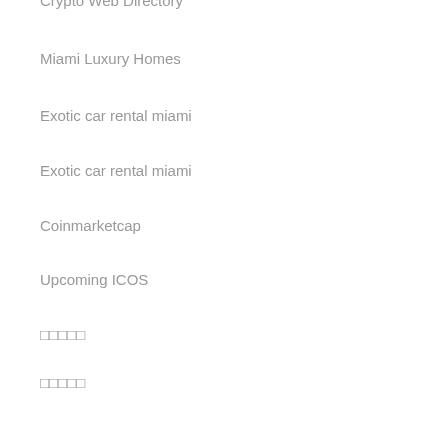Crypto Web Directory
Miami Luxury Homes
Exotic car rental miami
Exotic car rental miami
Coinmarketcap
Upcoming ICOS
□□□□□
□□□□□
□□□□□□
Link alternatif FUN88
□□□□□□